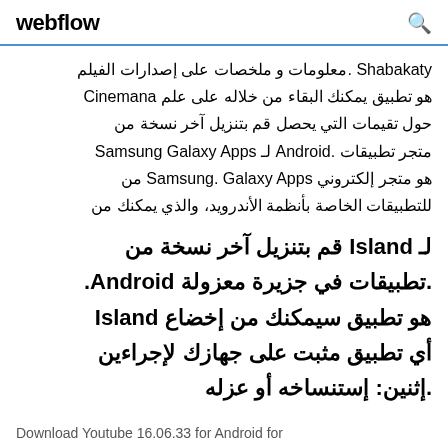webflow
Shabakaty .معلومات و ملخصات على إصدارات الفيلم هو تطبيق يمكنك البقاء من خلاله على علم Cinemana حول تقيمات التي يحصل قم بتنزيل آخر نسخة من متجر تطبيقات .Android لـ Samsung Galaxy Apps هو متجر إلكتروني Samsung. Galaxy Apps من للتطبيقات الخاصة بأنظمة الأندرويد، والذي يمكنك من
لـ Island قم بتنزيل آخر نسخة من تطبيقات في جزيرة معزولة .Android. هو تطبيق سيمكنك من إخضاع Island أي تطبيق مثبت على جهازك لإجراءين إثنين: إستنساخه أو عزله.
Download Youtube 16.06.33 for Android for